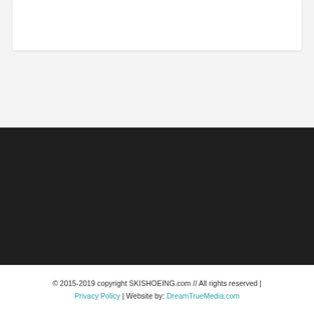[Figure (other): White content card/box at top of page on light gray background]
[Figure (other): Dark/black band section in the middle of the page]
© 2015-2019 copyright SKISHOEING.com // All rights reserved | Privacy Policy | Website by: DreamTrueMedia.com